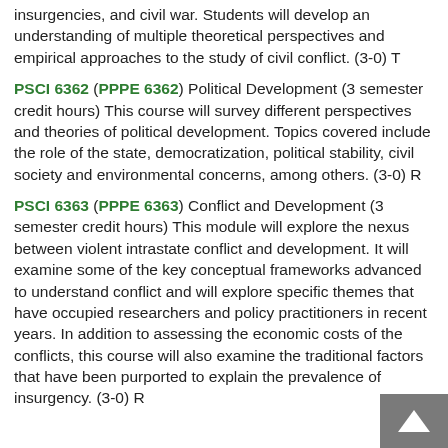insurgencies, and civil war. Students will develop an understanding of multiple theoretical perspectives and empirical approaches to the study of civil conflict. (3-0) T
PSCI 6362 (PPPE 6362) Political Development (3 semester credit hours) This course will survey different perspectives and theories of political development. Topics covered include the role of the state, democratization, political stability, civil society and environmental concerns, among others. (3-0) R
PSCI 6363 (PPPE 6363) Conflict and Development (3 semester credit hours) This module will explore the nexus between violent intrastate conflict and development. It will examine some of the key conceptual frameworks advanced to understand conflict and will explore specific themes that have occupied researchers and policy practitioners in recent years. In addition to assessing the economic costs of the conflicts, this course will also examine the traditional factors that have been purported to explain the prevalence of insurgency. (3-0) R